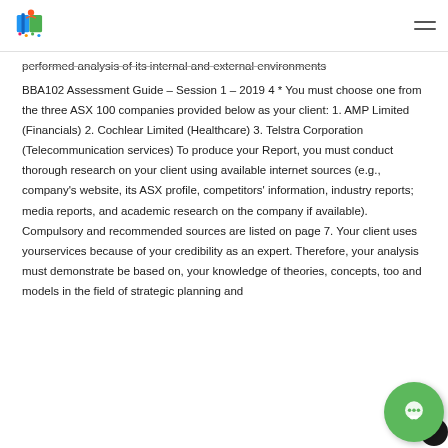[Logo] [Hamburger menu]
performed analysis of its internal and external environments
BBA102 Assessment Guide – Session 1 – 2019 4 * You must choose one from the three ASX 100 companies provided below as your client: 1. AMP Limited (Financials) 2. Cochlear Limited (Healthcare) 3. Telstra Corporation (Telecommunication services) To produce your Report, you must conduct thorough research on your client using available internet sources (e.g., company's website, its ASX profile, competitors' information, industry reports; media reports, and academic research on the company if available). Compulsory and recommended sources are listed on page 7. Your client uses yourservices because of your credibility as an expert. Therefore, your analysis must demonstrate be based on, your knowledge of theories, concepts, too and models in the field of strategic planning and